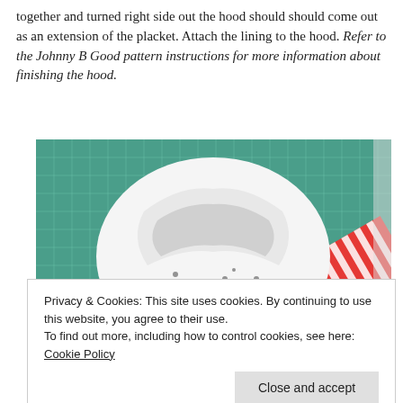together and turned right side out the hood should should come out as an extension of the placket. Attach the lining to the hood. Refer to the Johnny B Good pattern instructions for more information about finishing the hood.
[Figure (photo): A sewn fabric hood with white panda-print fabric laid flat on a green cutting mat. Red and white striped fabric pieces are visible around the hood edges.]
Privacy & Cookies: This site uses cookies. By continuing to use this website, you agree to their use.
To find out more, including how to control cookies, see here: Cookie Policy